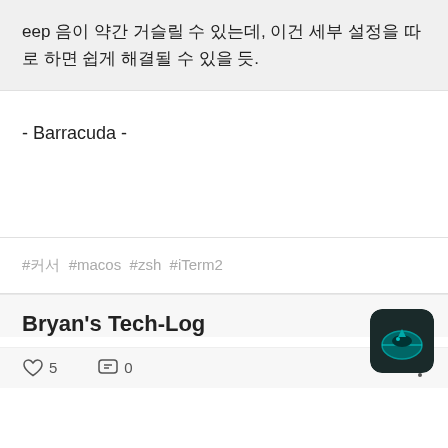eep 음이 약간 거슬릴 수 있는데, 이건 세부 설정을 따로 하면 쉽게 해결될 수 있을 듯.
- Barracuda -
#커서  #macos  #zsh  #iTerm2
Bryan's Tech-Log
♡ 5   💬 0